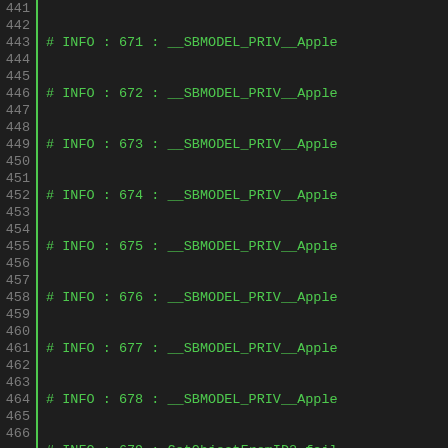Log output lines 441-465 showing INFO messages with line numbers, hash markers, INFO labels, numeric codes, and function names including __SBMODEL_PRIV__Apple, GetObjectFromID2 fail, __SBMODEL_PRIV__scree, Views.ViewD.TopCamera